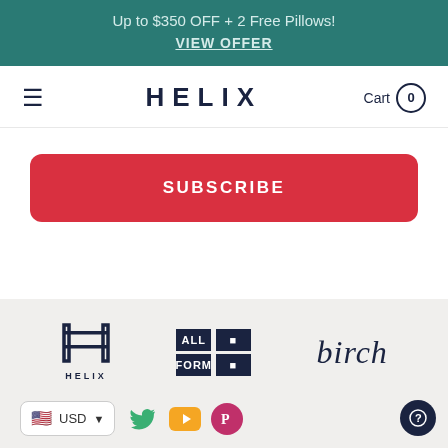Up to $350 OFF + 2 Free Pillows! VIEW OFFER
≡  HELIX  Cart 0
SUBSCRIBE
[Figure (logo): Helix logo (ladder/bed frame icon above text HELIX)]
[Figure (logo): All Form logo: 2x2 grid of dark squares spelling ALL FORM]
[Figure (logo): birch logo in italic serif font]
🇺🇸 USD ▾
[Figure (illustration): Twitter, YouTube, and Pinterest social media icons]
[Figure (illustration): Help/question mark circle button in bottom right]